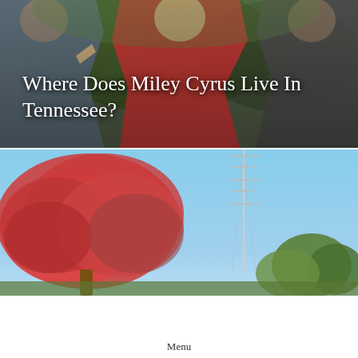[Figure (photo): Photo of three people outdoors with trees and greenery in background. A man on the left in grey shirt, a woman in the center in red top making hand gestures, and another person on the right in dark clothing.]
Where Does Miley Cyrus Live In Tennessee?
[Figure (photo): Outdoor photo showing red/pink autumn flowering tree against a clear blue sky, with a radio antenna/tower visible on the right side, and smaller green trees in the background.]
Menu